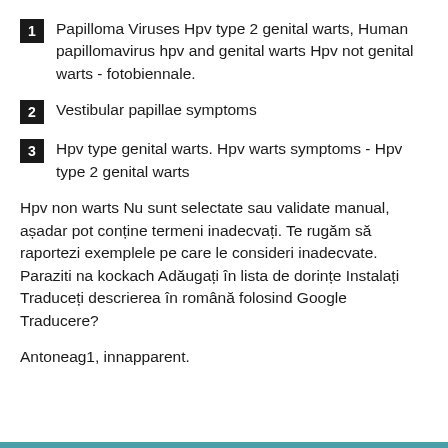1. Papilloma Viruses Hpv type 2 genital warts, Human papillomavirus hpv and genital warts Hpv not genital warts - fotobiennale.
2. Vestibular papillae symptoms
3. Hpv type genital warts. Hpv warts symptoms - Hpv type 2 genital warts
Hpv non warts Nu sunt selectate sau validate manual, așadar pot conține termeni inadecvați. Te rugăm să raportezi exemplele pe care le consideri inadecvate. Paraziti na kockach Adăugați în lista de dorințe Instalați Traduceți descrierea în română folosind Google Traducere?
Antoneag1, innapparent.